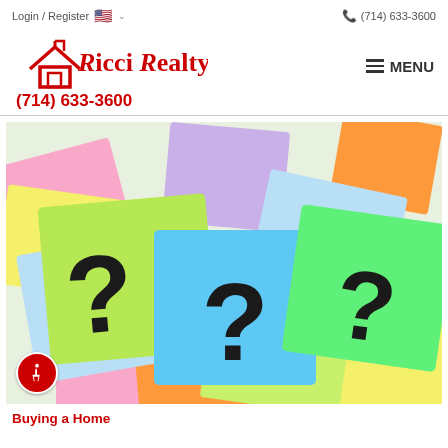Login / Register   🇺🇸 ∨   📞 (714) 633-3600
[Figure (logo): Ricci Realty logo with red house icon and red text, plus phone number (714) 633-3600]
[Figure (photo): Colorful sticky post-it notes in green, blue, pink, yellow, orange with black question marks drawn on them]
Buying a Home